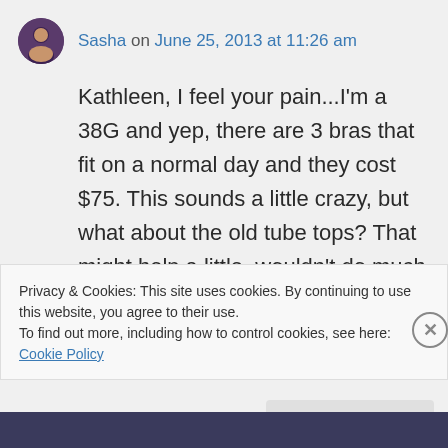Sasha on June 25, 2013 at 11:26 am
Kathleen, I feel your pain...I'm a 38G and yep, there are 3 bras that fit on a normal day and they cost $75. This sounds a little crazy, but what about the old tube tops? That might help a little, wouldn't do much for the appearance, but it would bind 'em and keep them from
Privacy & Cookies: This site uses cookies. By continuing to use this website, you agree to their use.
To find out more, including how to control cookies, see here: Cookie Policy
Close and accept